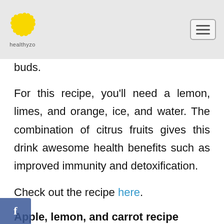healthyzo
buds.
For this recipe, you'll need a lemon, limes, and orange, ice, and water. The combination of citrus fruits gives this drink awesome health benefits such as improved immunity and detoxification.
Check out the recipe here.
Apple, lemon, and carrot recipe
Another healthy yet delicious infused water recipe you'll want to try is this apple, lemon, and carrot recipe — it's one of the tastiest recipes you can t…